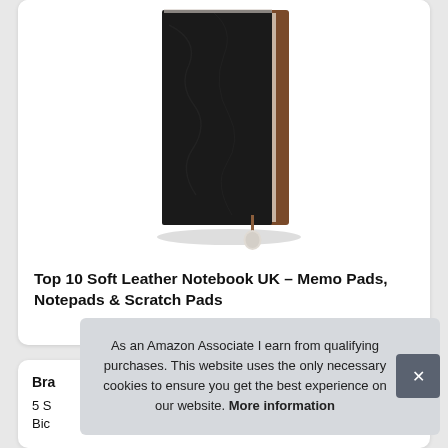[Figure (photo): A black soft leather notebook with brown spine accent and a dangling bookmark tassel, photographed against a white background with a subtle shadow.]
Top 10 Soft Leather Notebook UK – Memo Pads, Notepads & Scratch Pads
Bra
5 S
Bic
As an Amazon Associate I earn from qualifying purchases. This website uses the only necessary cookies to ensure you get the best experience on our website. More information